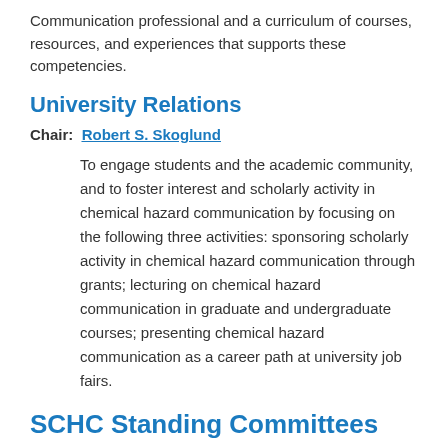Communication professional and a curriculum of courses, resources, and experiences that supports these competencies.
University Relations
Chair:  Robert S. Skoglund
To engage students and the academic community, and to foster interest and scholarly activity in chemical hazard communication by focusing on the following three activities: sponsoring scholarly activity in chemical hazard communication through grants; lecturing on chemical hazard communication in graduate and undergraduate courses; presenting chemical hazard communication as a career path at university job fairs.
SCHC Standing Committees
Alliance